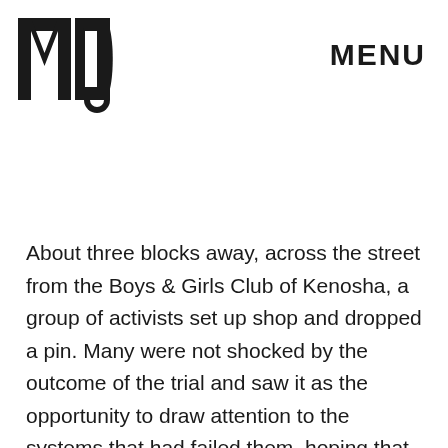[Figure (logo): MIC logo in bold black block letters]
MENU
About three blocks away, across the street from the Boys & Girls Club of Kenosha, a group of activists set up shop and dropped a pin. Many were not shocked by the outcome of the trial and saw it as the opportunity to draw attention to the systems that had failed them, hoping that the outcome, terrible as it was, could serve as a rallying point. Pop-up canopies and portable heaters were set up to counteract the winds and the cold air that winter evenings in Wisconsin often bring. A table was laid out with offerings of food, grilled on-